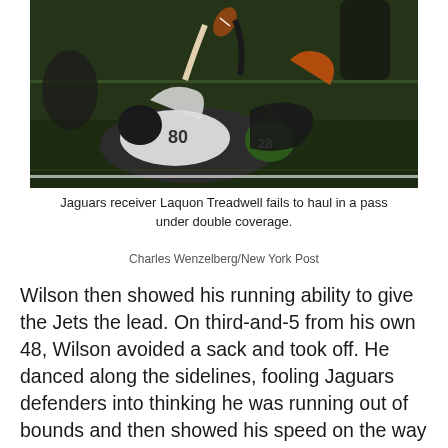[Figure (photo): Football action photo showing Jaguars receiver Laquon Treadwell failing to catch a pass while under double coverage, players on the ground]
Jaguars receiver Laquon Treadwell fails to haul in a pass under double coverage.
Charles Wenzelberg/New York Post
Wilson then showed his running ability to give the Jets the lead. On third-and-5 from his own 48, Wilson avoided a sack and took off. He danced along the sidelines, fooling Jaguars defenders into thinking he was running out of bounds and then showed his speed on the way to a 52-yard touchdown. It was the longest rushing touchdown by a quarterback in franchise history, surpassing the 46-yard run by Sam Darnold last year